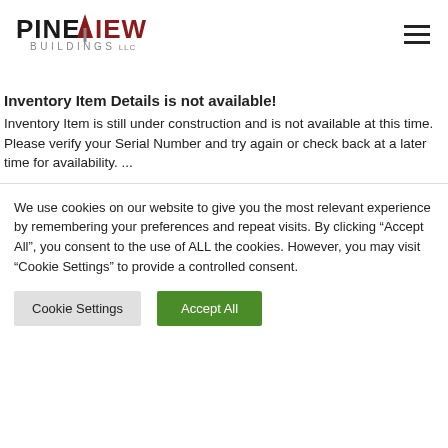[Figure (logo): Pineview Buildings LLC logo with pine tree arrow graphic in dark red and gray text]
Inventory Item Details is not available!
Inventory Item is still under construction and is not available at this time. Please verify your Serial Number and try again or check back at a later time for availability. ...
We use cookies on our website to give you the most relevant experience by remembering your preferences and repeat visits. By clicking “Accept All”, you consent to the use of ALL the cookies. However, you may visit “Cookie Settings” to provide a controlled consent.
Cookie Settings | Accept All